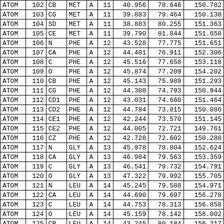|  |  |  |  |  |  |  |  |  |
| --- | --- | --- | --- | --- | --- | --- | --- | --- |
| ATOM | 102 | CB | MET | A | 11 | 40.956 | 78.646 | 150.782 |
| ATOM | 103 | CG | MET | A | 11 | 39.883 | 79.464 | 150.130 |
| ATOM | 104 | SD | MET | A | 11 | 38.883 | 80.255 | 151.363 |
| ATOM | 105 | CE | MET | A | 11 | 39.790 | 81.844 | 151.658 |
| ATOM | 106 | N | PHE | A | 12 | 43.528 | 77.775 | 151.651 |
| ATOM | 107 | CA | PHE | A | 12 | 44.481 | 76.911 | 152.306 |
| ATOM | 108 | C | PHE | A | 12 | 45.516 | 77.658 | 153.118 |
| ATOM | 109 | O | PHE | A | 12 | 45.874 | 77.209 | 154.202 |
| ATOM | 110 | CB | PHE | A | 12 | 45.143 | 75.989 | 151.293 |
| ATOM | 111 | CG | PHE | A | 12 | 44.308 | 74.793 | 150.944 |
| ATOM | 112 | CD1 | PHE | A | 12 | 43.031 | 74.660 | 151.464 |
| ATOM | 113 | CD2 | PHE | A | 12 | 44.784 | 73.815 | 150.086 |
| ATOM | 114 | CE1 | PHE | A | 12 | 42.244 | 73.570 | 151.145 |
| ATOM | 115 | CE2 | PHE | A | 12 | 44.005 | 72.721 | 149.761 |
| ATOM | 116 | CZ | PHE | A | 12 | 42.728 | 72.602 | 150.288 |
| ATOM | 117 | N | GLY | A | 13 | 45.978 | 78.804 | 152.624 |
| ATOM | 118 | CA | GLY | A | 13 | 46.984 | 79.563 | 153.359 |
| ATOM | 119 | C | GLY | A | 13 | 46.541 | 79.732 | 154.791 |
| ATOM | 120 | O | GLY | A | 13 | 47.322 | 79.992 | 155.705 |
| ATOM | 121 | N | LEU | A | 14 | 45.245 | 79.588 | 154.971 |
| ATOM | 122 | CA | LEU | A | 14 | 44.690 | 79.697 | 156.278 |
| ATOM | 123 | C | LEU | A | 14 | 44.753 | 78.313 | 156.858 |
| ATOM | 124 | O | LEU | A | 14 | 45.159 | 78.142 | 158.002 |
| ATOM | 125 | CB | LEU | A | 14 | 43.245 | 80.184 | 156.217 |
| ATOM | 126 | CG | LEU | A | 14 | 43.033 | 81.649 | 155.823 |
| ATOM | 127 | CD1 | LEU | A | 14 | 41.595 | 82.035 | 156.165 |
| ATOM | 128 | CD2 | LEU | A | 14 | 44.027 | 82.554 | 156.544 |
| ATOM | 129 | N | PHE | A | 15 | 44.379 | 77.315 | 156.067 |
| ATOM | 130 | CA | PHE | A | 15 | 44.395 | 75.955 | 156.570 |
| ATOM | 131 | C | PHE | A | 15 | 45.722 | 75.724 | 157.244 |